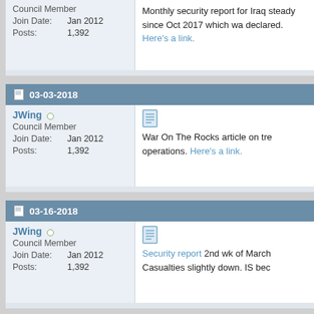Council Member
Join Date: Jan 2012
Posts: 1,392
Monthly security report for Iraq steady since Oct 2017 which wa declared. Here's a link.
03-03-2018
JWing
Council Member
Join Date: Jan 2012
Posts: 1,392
War On The Rocks article on tre operations. Here's a link.
03-16-2018
JWing
Council Member
Join Date: Jan 2012
Posts: 1,392
Security report 2nd wk of March Casualties slightly down. IS bec
03-21-2018